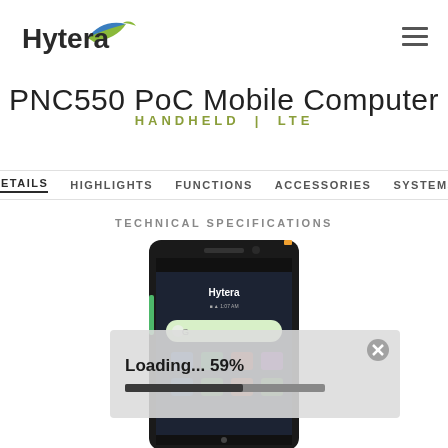[Figure (logo): Hytera logo with green/blue wing graphic and bold 'Hytera' text]
PNC550 PoC Mobile Computer
HANDHELD | LTE
DETAILS  HIGHLIGHTS  FUNCTIONS  ACCESSORIES  SYSTEMS
TECHNICAL SPECIFICATIONS
[Figure (photo): Hytera PNC550 PoC Mobile Computer handheld device showing Android interface with Google search bar]
Loading... 59%